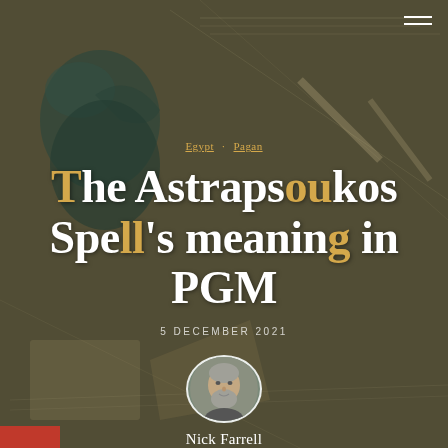[Figure (photo): Background image of an ancient Egyptian/Byzantine manuscript or painting with decorative figures, likely showing an ibis or bird figure and handwritten text, with dark olive/brown tones]
Egypt · Pagan
The Astrapsoukos Spell's meaning in PGM
5 DECEMBER 2021
[Figure (photo): Circular portrait photo of Nick Farrell, a bearded older man]
Nick Farrell